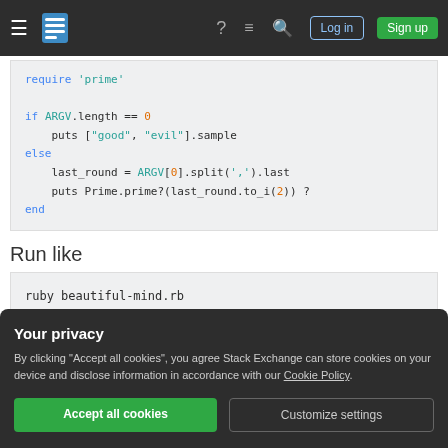Stack Exchange navigation bar with hamburger menu, logo, help, chat, search icons, Log in and Sign up buttons
[Figure (screenshot): Code block showing Ruby code: require 'prime', if ARGV.length == 0, puts ["good", "evil"].sample, else, last_round = ARGV[0].split(',').last, puts Prime.prime?(last_round.to_i(2)) ?, end]
Run like
[Figure (screenshot): Code block showing: ruby beautiful-mind.rb]
Your privacy
By clicking "Accept all cookies", you agree Stack Exchange can store cookies on your device and disclose information in accordance with our Cookie Policy.
Accept all cookies | Customize settings